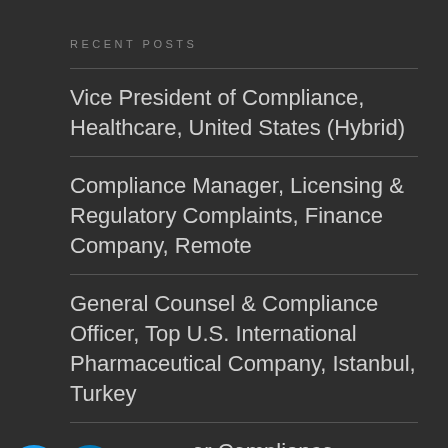RECENT POSTS
Vice President of Compliance, Healthcare, United States (Hybrid)
Compliance Manager, Licensing & Regulatory Complaints, Finance Company, Remote
General Counsel & Compliance Officer, Top U.S. International Pharmaceutical Company, Istanbul, Turkey
Senior Compliance Counsel, Global